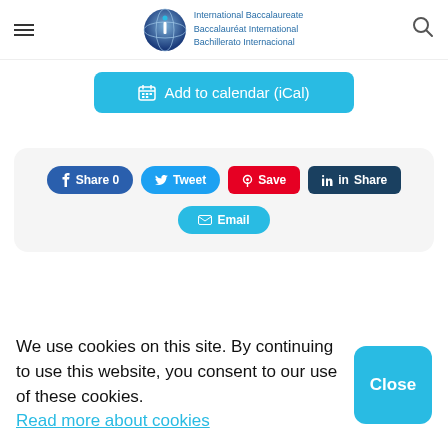[Figure (logo): International Baccalaureate logo with globe icon and trilingual text]
Add to calendar (iCal)
Share 0  Tweet  Save  Share  Email
We use cookies on this site. By continuing to use this website, you consent to our use of these cookies. Read more about cookies